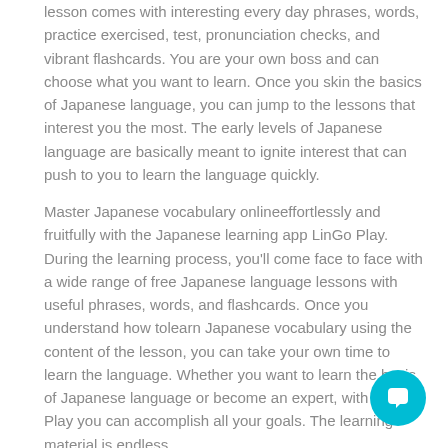lesson comes with interesting every day phrases, words, practice exercised, test, pronunciation checks, and vibrant flashcards. You are your own boss and can choose what you want to learn. Once you skin the basics of Japanese language, you can jump to the lessons that interest you the most. The early levels of Japanese language are basically meant to ignite interest that can push to you to learn the language quickly.
Master Japanese vocabulary onlineeffortlessly and fruitfully with the Japanese learning app LinGo Play. During the learning process, you'll come face to face with a wide range of free Japanese language lessons with useful phrases, words, and flashcards. Once you understand how tolearn Japanese vocabulary using the content of the lesson, you can take your own time to learn the language. Whether you want to learn the basis of Japanese language or become an expert, with LinGo Play you can accomplish all your goals. The learning material is endless.
[Figure (other): Teal circular chat/message button icon in the bottom right corner]